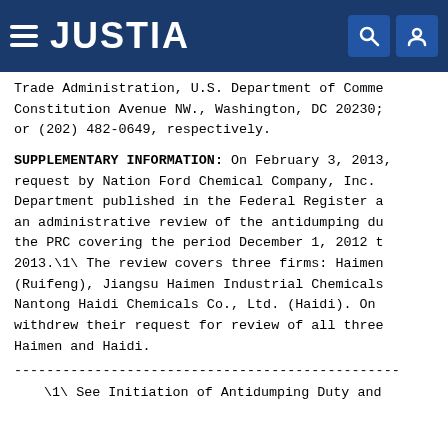JUSTIA
Trade Administration, U.S. Department of Commerce, Constitution Avenue NW., Washington, DC 20230; or (202) 482-0649, respectively.
SUPPLEMENTARY INFORMATION: On February 3, 2013, request by Nation Ford Chemical Company, Inc. Department published in the Federal Register an administrative review of the antidumping du the PRC covering the period December 1, 2012 t 2013.\1\ The review covers three firms: Haimen (Ruifeng), Jiangsu Haimen Industrial Chemicals Nantong Haidi Chemicals Co., Ltd. (Haidi). On withdrew their request for review of all three Haimen and Haidi.
------------------------------------------------------------
\1\ See Initiation of Antidumping Duty and